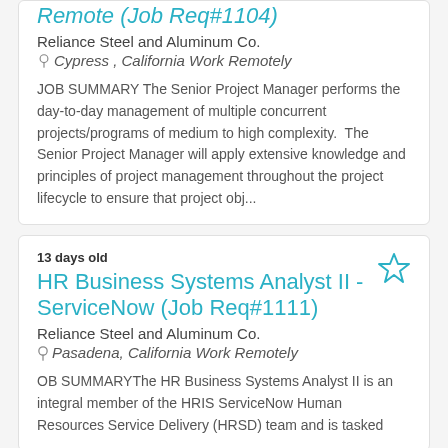Remote (Job Req#1104)
Reliance Steel and Aluminum Co.
Cypress , California Work Remotely
JOB SUMMARY The Senior Project Manager performs the day-to-day management of multiple concurrent projects/programs of medium to high complexity.  The Senior Project Manager will apply extensive knowledge and principles of project management throughout the project lifecycle to ensure that project obj...
13 days old
HR Business Systems Analyst II - ServiceNow (Job Req#1111)
Reliance Steel and Aluminum Co.
Pasadena, California Work Remotely
OB SUMMARYThe HR Business Systems Analyst II is an integral member of the HRIS ServiceNow Human Resources Service Delivery (HRSD) team and is tasked